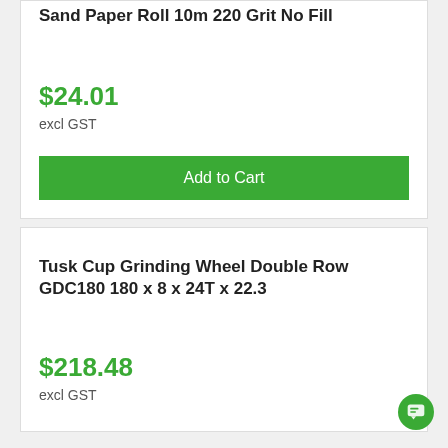Sand Paper Roll 10m 220 Grit No Fill
$24.01
excl GST
Add to Cart
Tusk Cup Grinding Wheel Double Row GDC180 180 x 8 x 24T x 22.3
$218.48
excl GST